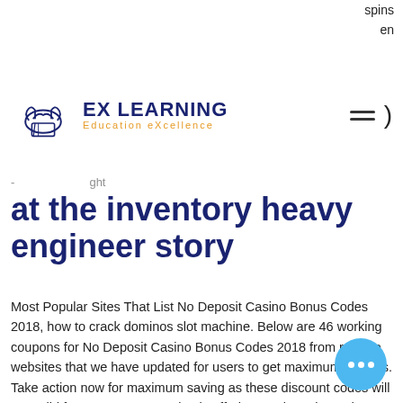spins
en
[Figure (logo): EX LEARNING logo with hands icon and tagline Education eXcellence]
at the inventory heavy engineer story
Most Popular Sites That List No Deposit Casino Bonus Codes 2018, how to crack dominos slot machine. Below are 46 working coupons for No Deposit Casino Bonus Codes 2018 from reliable websites that we have updated for users to get maximum savings. Take action now for maximum saving as these discount codes will not valid forever. Energy Casino is offering newly registered account holders a 30 Spins Bet No Deposit on sign up, how to crack dominos slot machine. Terms and Conditions